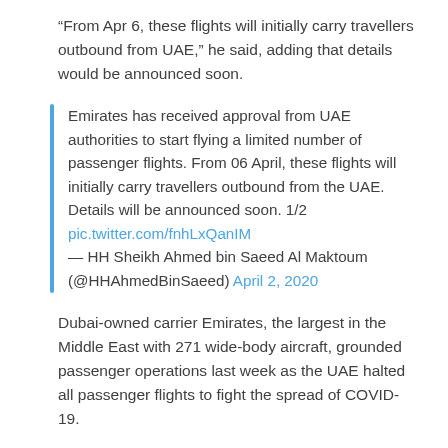“From Apr 6, these flights will initially carry travellers outbound from UAE,” he said, adding that details would be announced soon.
Emirates has received approval from UAE authorities to start flying a limited number of passenger flights. From 06 April, these flights will initially carry travellers outbound from the UAE. Details will be announced soon. 1/2 pic.twitter.com/fnhLxQanIM — HH Sheikh Ahmed bin Saeed Al Maktoum (@HHAhmedBinSaeed) April 2, 2020
Dubai-owned carrier Emirates, the largest in the Middle East with 271 wide-body aircraft, grounded passenger operations last week as the UAE halted all passenger flights to fight the spread of COVID-19.